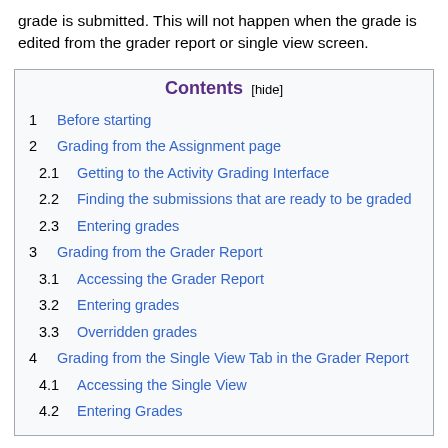grade is submitted. This will not happen when the grade is edited from the grader report or single view screen.
1  Before starting
2  Grading from the Assignment page
2.1  Getting to the Activity Grading Interface
2.2  Finding the submissions that are ready to be graded
2.3  Entering grades
3  Grading from the Grader Report
3.1  Accessing the Grader Report
3.2  Entering grades
3.3  Overridden grades
4  Grading from the Single View Tab in the Grader Report
4.1  Accessing the Single View
4.2  Entering Grades